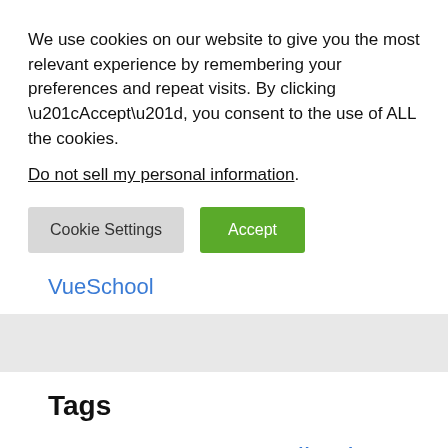We use cookies on our website to give you the most relevant experience by remembering your preferences and repeat visits. By clicking “Accept”, you consent to the use of ALL the cookies.
Do not sell my personal information.
Cookie Settings
Accept
VueSchool
Tags
Adobe Adobe Tutorials API Application Beginner